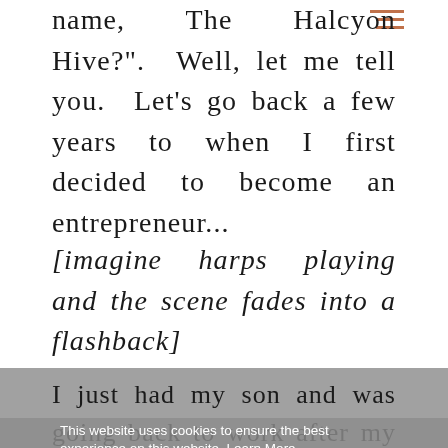name, The Halcyon Hive?". Well, let me tell you. Let's go back a few years to when I first decided to become an entrepreneur...
[imagine harps playing and the scene fades into a flashback]
I just had my son and was going back to work after my maternity leave. This was my second kid and I was struggling with the reality of going back to work and missing out on